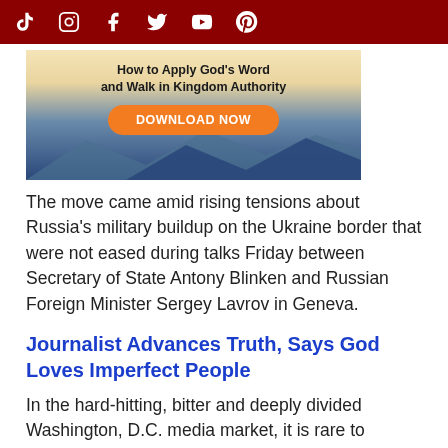TikTok Instagram Facebook Twitter YouTube Pinterest
[Figure (infographic): Advertisement banner: 'How to Apply God's Word and Walk in Kingdom Authority' with an orange 'DOWNLOAD NOW' button, mountain landscape background]
The move came amid rising tensions about Russia's military buildup on the Ukraine border that were not eased during talks Friday between Secretary of State Antony Blinken and Russian Foreign Minister Sergey Lavrov in Geneva.
Journalist Advances Truth, Says God Loves Imperfect People
In the hard-hitting, bitter and deeply divided Washington, D.C. media market, it is rare to